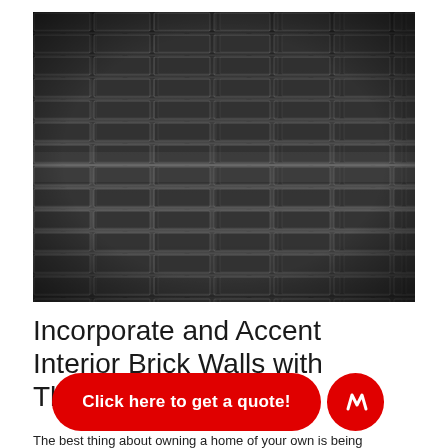[Figure (photo): Black and white photograph of a brick wall with rows of dark bricks and mortar joints, filling the upper portion of the page.]
Incorporate and Accent Interior Brick Walls with These T…
[Figure (other): Red rounded button overlay reading 'Click here to get a quote!' with a red circular badge containing a white stylized M/checkmark logo on the right.]
The best thing about owning a home of your own is being